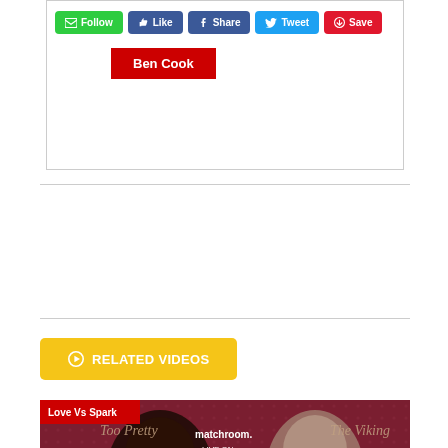[Figure (screenshot): Social media action buttons: Follow (green), Like (blue), Share (Facebook blue), Tweet (Twitter blue), Save (red/Pinterest). Below buttons is a red author tag reading 'Ben Cook'.]
RELATED VIDEOS
[Figure (photo): Boxing promotional image for 'Love Vs Spark' fight. Two boxers facing forward on dark red background. Text overlays: 'Too Pretty', 'The Viking', 'matchroom. LIVE ON DAZN', 'LOVE SPARK'. Bottom caption reads: 'NEWS: MONTANA LOVE HEADLINES AT HOME IN CLEVELAND AGAINST STEVIE']